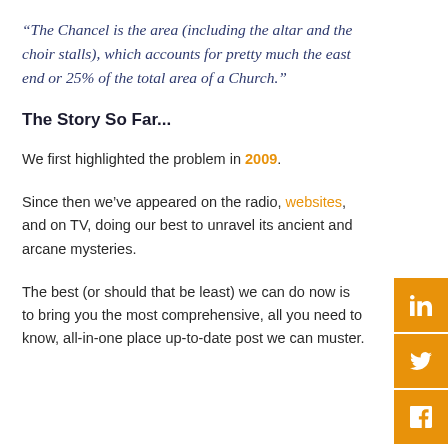“The Chancel is the area (including the altar and the choir stalls), which accounts for pretty much the east end or 25% of the total area of a Church.”
The Story So Far...
We first highlighted the problem in 2009.
Since then we’ve appeared on the radio, websites, and on TV, doing our best to unravel its ancient and arcane mysteries.
The best (or should that be least) we can do now is to bring you the most comprehensive, all you need to know, all-in-one place up-to-date post we can muster.